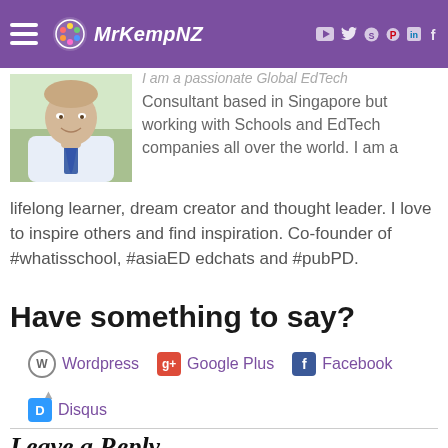MrKempNZ
[Figure (photo): Profile photo of a man in a white shirt and tie, smiling, outdoors]
I am a passionate Global EdTech Consultant based in Singapore but working with Schools and EdTech companies all over the world. I am a lifelong learner, dream creator and thought leader. I love to inspire others and find inspiration. Co-founder of #whatisschool, #asiaED edchats and #pubPD.
Have something to say?
Wordpress
Google Plus
Facebook
Disqus
Leave a Reply